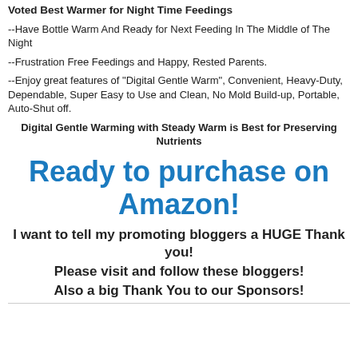Voted Best Warmer for Night Time Feedings
--Have Bottle Warm And Ready for Next Feeding In The Middle of The Night
--Frustration Free Feedings and Happy, Rested Parents.
--Enjoy great features of "Digital Gentle Warm", Convenient, Heavy-Duty, Dependable, Super Easy to Use and Clean, No Mold Build-up, Portable, Auto-Shut off.
Digital Gentle Warming with Steady Warm is Best for Preserving Nutrients
Ready to purchase on Amazon!
I want to tell my promoting bloggers a HUGE Thank you!
Please visit and follow these bloggers!
Also a big Thank You to our Sponsors!